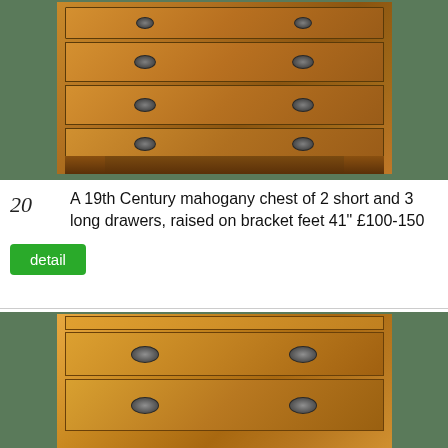[Figure (photo): Photograph of a 19th Century mahogany chest of drawers with 2 short and 3 long drawers, raised on bracket feet, shown against a grey/green background.]
20  A 19th Century mahogany chest of 2 short and 3 long drawers, raised on bracket feet 41" £100-150
detail
[Figure (photo): Close-up detail photograph of a mahogany chest of drawers showing the top drawers with oval brass handles, lighter honey-coloured wood finish.]